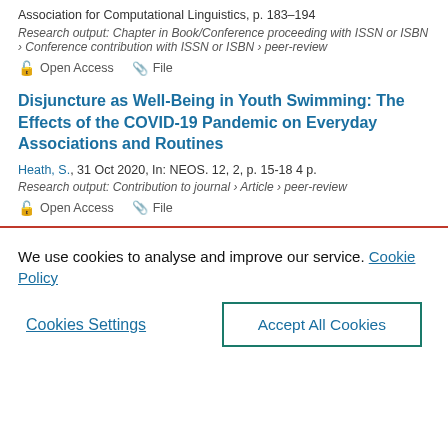Association for Computational Linguistics, p. 183–194
Research output: Chapter in Book/Conference proceeding with ISSN or ISBN › Conference contribution with ISSN or ISBN › peer-review
Open Access   File
Disjuncture as Well-Being in Youth Swimming: The Effects of the COVID-19 Pandemic on Everyday Associations and Routines
Heath, S., 31 Oct 2020, In: NEOS. 12, 2, p. 15-18 4 p.
Research output: Contribution to journal › Article › peer-review
Open Access   File
We use cookies to analyse and improve our service. Cookie Policy
Cookies Settings
Accept All Cookies